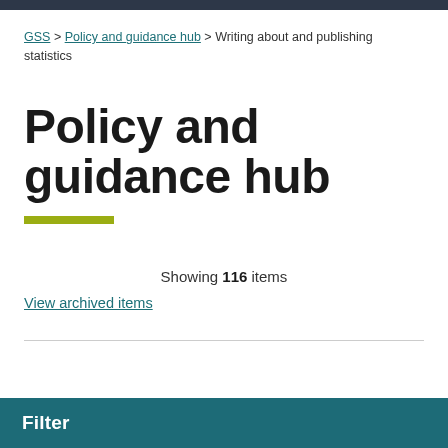GSS > Policy and guidance hub > Writing about and publishing statistics
Policy and guidance hub
Showing 116 items
View archived items
Filter